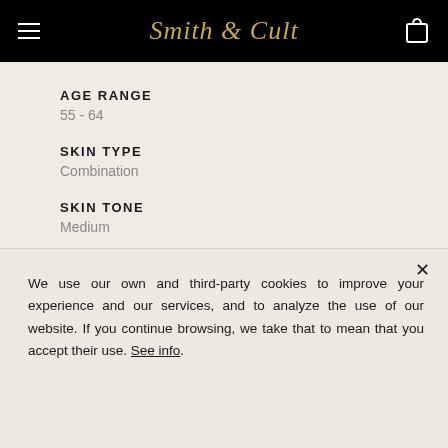Smith & Cult
AGE RANGE
55 - 64
SKIN TYPE
Combination
SKIN TONE
Medium
Product Standouts
Highly Pigmented or Great Color
We use our own and third-party cookies to improve your experience and our services, and to analyze the use of our website. If you continue browsing, we take that to mean that you accept their use. See info.